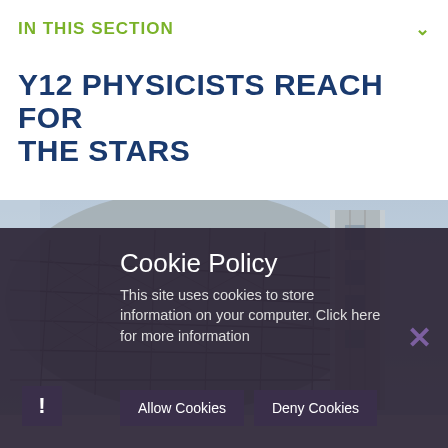IN THIS SECTION
Y12 PHYSICISTS REACH FOR THE STARS
[Figure (photo): Close-up photograph of a large radio telescope dish structure showing its metallic lattice framework and support tower, taken from below looking up.]
Cookie Policy
This site uses cookies to store information on your computer. Click here for more information
Allow Cookies
Deny Cookies